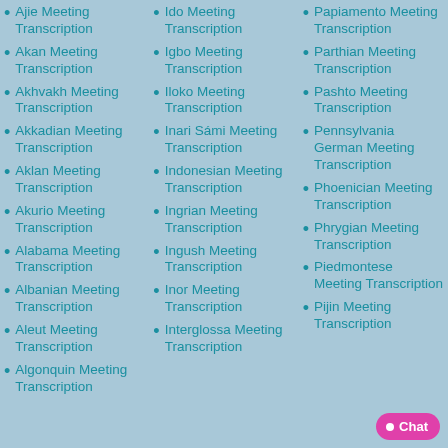Ajie Meeting Transcription
Akan Meeting Transcription
Akhvakh Meeting Transcription
Akkadian Meeting Transcription
Aklan Meeting Transcription
Akurio Meeting Transcription
Alabama Meeting Transcription
Albanian Meeting Transcription
Aleut Meeting Transcription
Algonquin Meeting Transcription
Ido Meeting Transcription
Igbo Meeting Transcription
Iloko Meeting Transcription
Inari Sámi Meeting Transcription
Indonesian Meeting Transcription
Ingrian Meeting Transcription
Ingush Meeting Transcription
Inor Meeting Transcription
Interglossa Meeting Transcription
Papiamento Meeting Transcription
Parthian Meeting Transcription
Pashto Meeting Transcription
Pennsylvania German Meeting Transcription
Phoenician Meeting Transcription
Phrygian Meeting Transcription
Piedmontese Meeting Transcription
Pijin Meeting Transcription